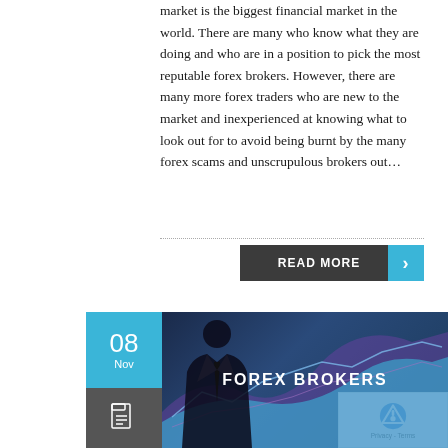market is the biggest financial market in the world. There are many who know what they are doing and who are in a position to pick the most reputable forex brokers. However, there are many more forex traders who are new to the market and inexperienced at knowing what to look out for to avoid being burnt by the many forex scams and unscrupulous brokers out…
READ MORE →
[Figure (photo): Date badge showing 08 Nov on blue background with dark grey icon area, beside a dark blue financial chart image with person in suit silhouette and text FOREX BROKERS]
[Figure (logo): reCAPTCHA logo with Privacy - Terms text]